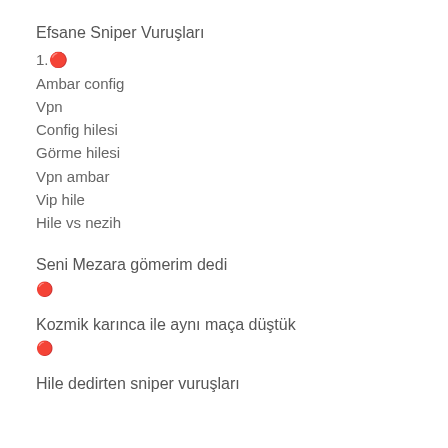Efsane Sniper Vuruşları
1.🔴
Ambar config
Vpn
Config hilesi
Görme hilesi
Vpn ambar
Vip hile
Hile vs nezih
Seni Mezara gömerim dedi
🔴
Kozmik karınca ile aynı maça düştük
🔴
Hile dedirten sniper vuruşları